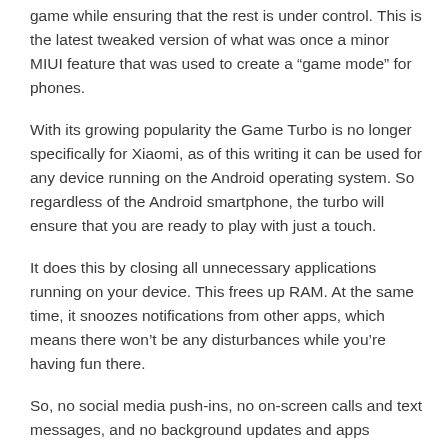game while ensuring that the rest is under control. This is the latest tweaked version of what was once a minor MIUI feature that was used to create a “game mode” for phones.
With its growing popularity the Game Turbo is no longer specifically for Xiaomi, as of this writing it can be used for any device running on the Android operating system. So regardless of the Android smartphone, the turbo will ensure that you are ready to play with just a touch.
It does this by closing all unnecessary applications running on your device. This frees up RAM. At the same time, it snoozes notifications from other apps, which means there won’t be any disturbances while you’re having fun there.
So, no social media push-ins, no on-screen calls and text messages, and no background updates and apps running while you’re enjoying a game against your friends or online